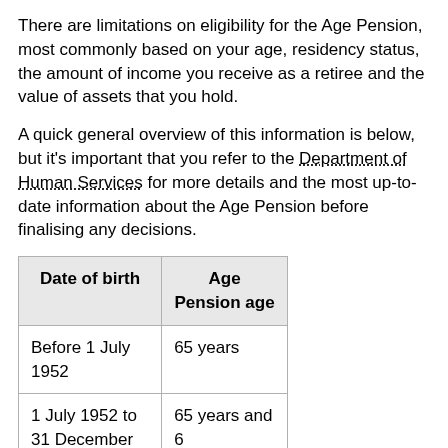There are limitations on eligibility for the Age Pension, most commonly based on your age, residency status, the amount of income you receive as a retiree and the value of assets that you hold.
A quick general overview of this information is below, but it's important that you refer to the Department of Human Services for more details and the most up-to-date information about the Age Pension before finalising any decisions.
| Date of birth | Age Pension age |
| --- | --- |
| Before 1 July 1952 | 65 years |
| 1 July 1952 to 31 December | 65 years and 6 |